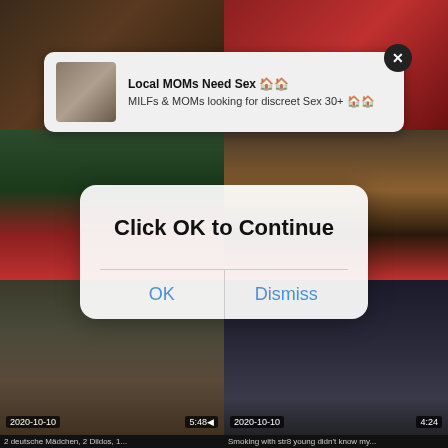[Figure (screenshot): Background mosaic of adult video thumbnails with dates and durations]
Local MOMs Need Sex 🏠🏠
MILFs & MOMs looking for discreet Sex 30+ 🏠🏠
Click OK to Continue
OK
Dismiss
2020-10-10
5:48
2020-10-10
4:24
2 deutsche Mädchen, 2 Dildos, 1...
Smoking with str8 young didn't know my...